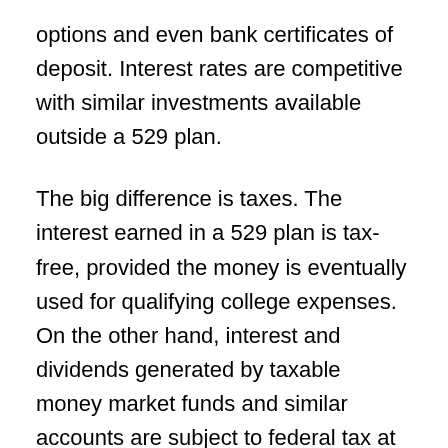options and even bank certificates of deposit. Interest rates are competitive with similar investments available outside a 529 plan.
The big difference is taxes. The interest earned in a 529 plan is tax-free, provided the money is eventually used for qualifying college expenses. On the other hand, interest and dividends generated by taxable money market funds and similar accounts are subject to federal tax at rates as high as 35 percent.